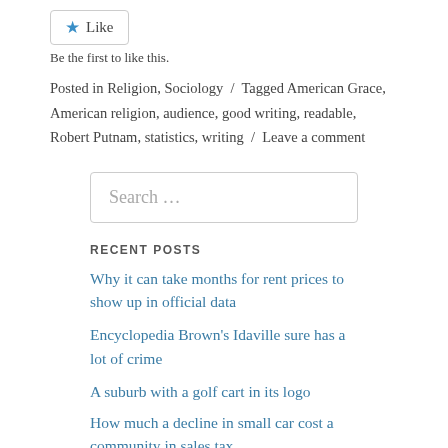[Figure (other): Like button widget with blue star icon and 'Like' text in a bordered box]
Be the first to like this.
Posted in Religion, Sociology / Tagged American Grace, American religion, audience, good writing, readable, Robert Putnam, statistics, writing / Leave a comment
[Figure (other): Search input box with placeholder text 'Search …']
RECENT POSTS
Why it can take months for rent prices to show up in official data
Encyclopedia Brown's Idaville sure has a lot of crime
A suburb with a golf cart in its logo
How much a decline in small car cost a community in sales tax…